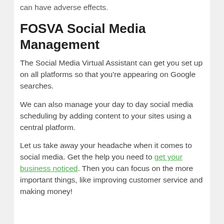can have adverse effects.
FOSVA Social Media Management
The Social Media Virtual Assistant can get you set up on all platforms so that you're appearing on Google searches.
We can also manage your day to day social media scheduling by adding content to your sites using a central platform.
Let us take away your headache when it comes to social media. Get the help you need to get your business noticed. Then you can focus on the more important things, like improving customer service and making money!